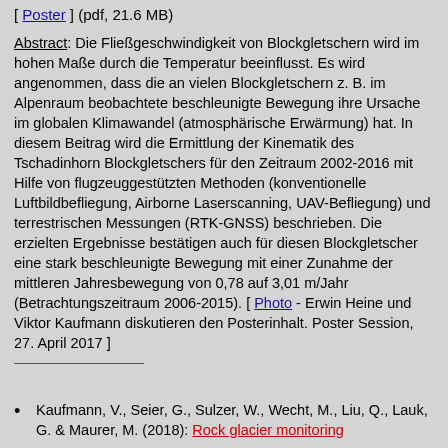[ Poster ] (pdf, 21.6 MB)
Abstract: Die Fließgeschwindigkeit von Blockgletschern wird im hohen Maße durch die Temperatur beeinflusst. Es wird angenommen, dass die an vielen Blockgletschern z. B. im Alpenraum beobachtete beschleunigte Bewegung ihre Ursache im globalen Klimawandel (atmosphärische Erwärmung) hat. In diesem Beitrag wird die Ermittlung der Kinematik des Tschadinhorn Blockgletschers für den Zeitraum 2002-2016 mit Hilfe von flugzeuggestützten Methoden (konventionelle Luftbildbefliegung, Airborne Laserscanning, UAV-Befliegung) und terrestrischen Messungen (RTK-GNSS) beschrieben. Die erzielten Ergebnisse bestätigen auch für diesen Blockgletscher eine stark beschleunigte Bewegung mit einer Zunahme der mittleren Jahresbewegung von 0,78 auf 3,01 m/Jahr (Betrachtungszeitraum 2006-2015). [ Photo - Erwin Heine und Viktor Kaufmann diskutieren den Posterinhalt. Poster Session, 27. April 2017 ]
Kaufmann, V., Seier, G., Sulzer, W., Wecht, M., Liu, Q., Lauk, G. & Maurer, M. (2018): Rock glacier monitoring …